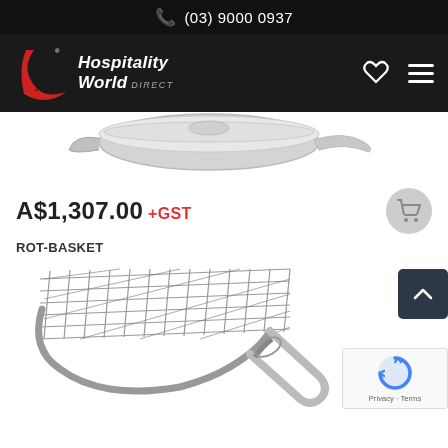(03) 9000 0937
[Figure (logo): Hospitality World Direct logo with red crescent/globe icon on dark background, with heart and menu icons]
[Figure (photo): Stainless steel pan/pot product image (partial, top of product visible)]
A$1,307.00 +GST
ROT-BASKET
[Figure (photo): Stainless steel wire rotisserie basket product image]
[Figure (other): reCAPTCHA badge with Privacy and Terms links]